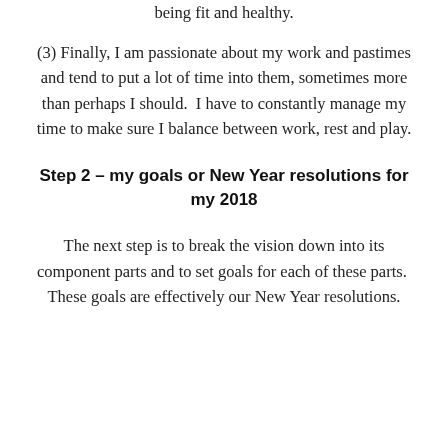being fit and healthy.
(3) Finally, I am passionate about my work and pastimes and tend to put a lot of time into them, sometimes more than perhaps I should.  I have to constantly manage my time to make sure I balance between work, rest and play.
Step 2 – my goals or New Year resolutions for my 2018
The next step is to break the vision down into its component parts and to set goals for each of these parts.  These goals are effectively our New Year resolutions.